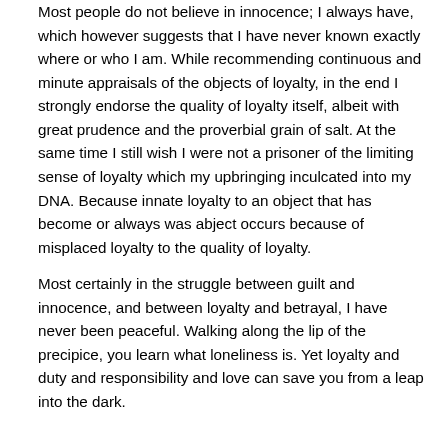Most people do not believe in innocence; I always have, which however suggests that I have never known exactly where or who I am. While recommending continuous and minute appraisals of the objects of loyalty, in the end I strongly endorse the quality of loyalty itself, albeit with great prudence and the proverbial grain of salt. At the same time I still wish I were not a prisoner of the limiting sense of loyalty which my upbringing inculcated into my DNA. Because innate loyalty to an object that has become or always was abject occurs because of misplaced loyalty to the quality of loyalty.
Most certainly in the struggle between guilt and innocence, and between loyalty and betrayal, I have never been peaceful. Walking along the lip of the precipice, you learn what loneliness is. Yet loyalty and duty and responsibility and love can save you from a leap into the dark.